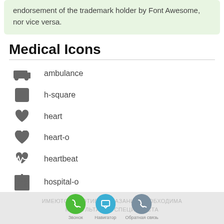endorsement of the trademark holder by Font Awesome, nor vice versa.
Medical Icons
ambulance
h-square
heart
heart-o
heartbeat
hospital-o
medkit
ИМЕЮТСЯ ПРОТИВОПОКАЗАНИЯ НЕОБХОДИМА КОНСУЛЬТАЦИЯ СПЕЦИАЛИСТА